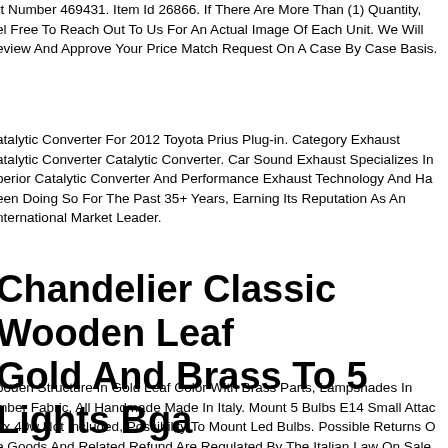rt Number 469431. Item Id 26866. If There Are More Than (1) Quantity, el Free To Reach Out To Us For An Actual Image Of Each Unit. We Will eview And Approve Your Price Match Request On A Case By Case Basis.
atalytic Converter For 2012 Toyota Prius Plug-in. Category Exhaust atalytic Converter Catalytic Converter. Car Sound Exhaust Specializes In perior Catalytic Converter And Performance Exhaust Technology And Ha een Doing So For The Past 35+ Years, Earning Its Reputation As An nternational Market Leader.
Chandelier Classic Wooden Leaf Gold And Brass To 5 Lights Bga 171-5
ooden Structure In Gold Leaf Color With Brass Parts, Lampshades In mber Fabric, All Handmade Made In Italy. Mount 5 Bulbs E14 Small Attac ax 40w Not Included, Possibility To Mount Led Bulbs. Possible Returns O e Goods And Related Refund Are Regulated By The Italian Law On Sale r Correspondence, If The Customer Has Purchased A Product Not orresponding To His Expectations And Not Conforming To The Description